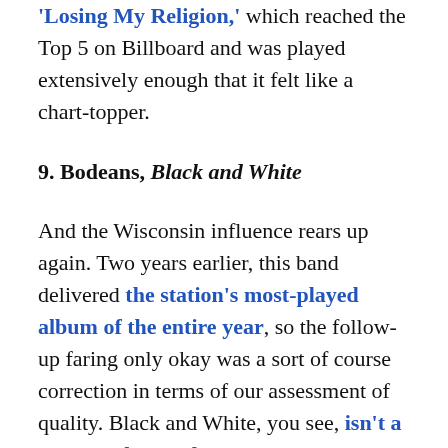'Losing My Religion,' which reached the Top 5 on Billboard and was played extensively enough that it felt like a chart-topper.
9. Bodeans, Black and White
And the Wisconsin influence rears up again. Two years earlier, this band delivered the station's most-played album of the entire year, so the follow-up faring only okay was a sort of course correction in terms of our assessment of quality. Black and White, you see, isn't a very good record.
10. The La's, The La's
I remember listening to this in our production studio when it first arrived at the station and being stunned at how good it was. I rushed it right into